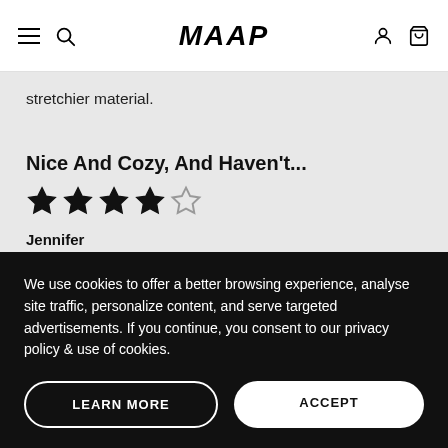MAAP
stretchier material.
Nice And Cozy, And Haven't...
★★★★☆ (4 out of 5 stars)
Jennifer
Jun 05, 2022
Comfort  4 / 5     Performance  5 / 5
We use cookies to offer a better browsing experience, analyse site traffic, personalize content, and serve targeted advertisements. If you continue, you consent to our privacy policy & use of cookies.
LEARN MORE
ACCEPT